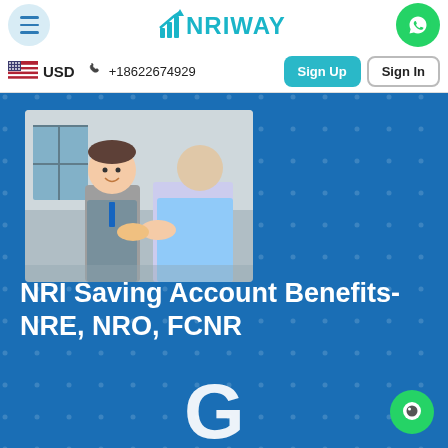NRIWAY — USD | +18622674929 | Sign Up | Sign In
[Figure (photo): Two businessmen shaking hands in an office environment, smiling]
NRI Saving Account Benefits- NRE, NRO, FCNR
[Figure (logo): Google G logo at bottom center]
[Figure (other): Green chat bubble icon at bottom right]